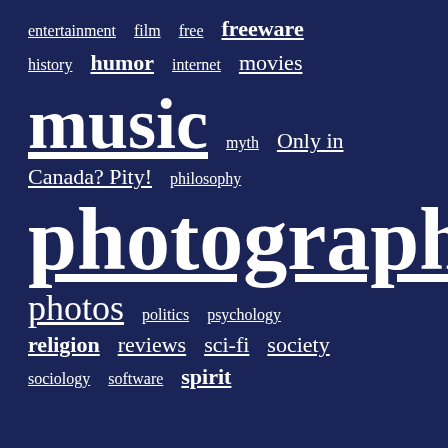entertainment film free freeware history humor internet movies music myth Only in Canada? Pity! philosophy photography. photos politics psychology religion reviews sci-fi society sociology software spirit